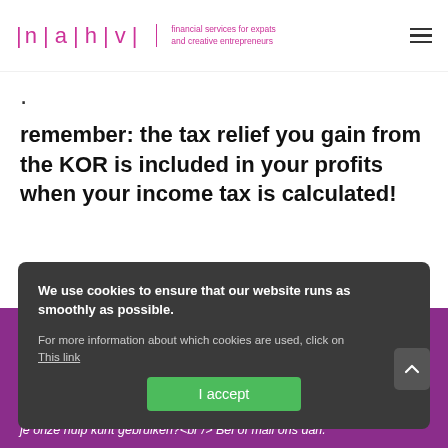nahv | financial services for expats and creative entrepreneurs
·
remember: the tax relief you gain from the KOR is included in your profits when your income tax is calculated!
We use cookies to ensure that our website runs as smoothly as possible.
For more information about which cookies are used, click on This link
I accept
je onze hulp kunt gebruiken?<br /> Bel of mail ons dan.